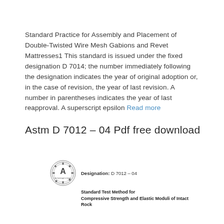Standard Practice for Assembly and Placement of Double-Twisted Wire Mesh Gabions and Revet Mattresses1 This standard is issued under the fixed designation D 7014; the number immediately following the designation indicates the year of original adoption or, in the case of revision, the year of last revision. A number in parentheses indicates the year of last reapproval. A superscript epsilon Read more
Astm D 7012 – 04 Pdf free download
[Figure (other): ASTM International logo with designation D 7012-04 and document title 'Standard Test Method for Compressive Strength and Elastic Moduli of Intact Rock']